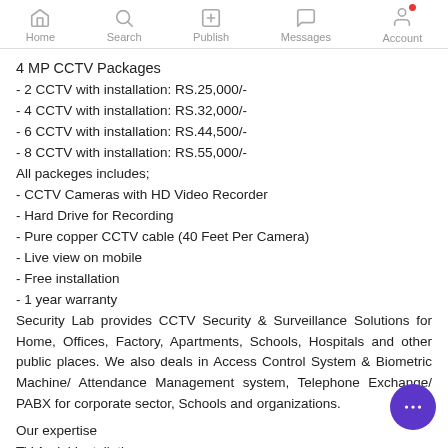Home | Search | Publish | Messages | Account
4 MP CCTV Packages
- 2 CCTV with installation: RS.25,000/-
- 4 CCTV with installation: RS.32,000/-
- 6 CCTV with installation: RS.44,500/-
- 8 CCTV with installation: RS.55,000/-
All packeges includes;
- CCTV Cameras with HD Video Recorder
- Hard Drive for Recording
- Pure copper CCTV cable (40 Feet Per Camera)
- Live view on mobile
- Free installation
- 1 year warranty
Security Lab provides CCTV Security & Surveillance Solutions for Home, Offices, Factory, Apartments, Schools, Hospitals and other public places. We also deals in Access Control System & Biometric Machine/ Attendance Management system, Telephone Exchange/ PABX for corporate sector, Schools and organizations.
Our expertise
TV Aerial Installations